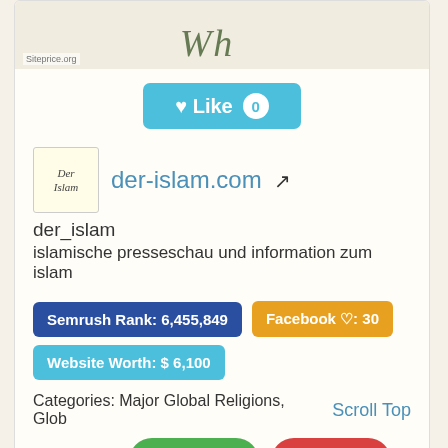[Figure (screenshot): Top of website card showing a partial logo/image strip with Siteprice.org watermark]
[Figure (other): Blue Like button with heart icon and count badge showing 0]
[Figure (logo): der-islam.com site logo (small square with Der Islam text in italic script)]
der-islam.com
der_islam
islamische presseschau und information zum islam
Semrush Rank: 6,455,849
Facebook ♡: 30
Website Worth: $ 6,100
Categories: Major Global Religions, Glob
Scroll Top
Is it similar?
Yes 0
No 0